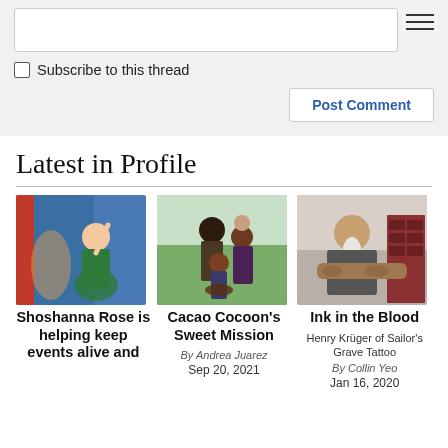Subscribe to this thread
Post Comment
Latest in Profile
[Figure (photo): Woman in colorful green outfit performing at an event with blue backdrop]
[Figure (photo): Family group photo outdoors in a wildflower field]
[Figure (photo): Man with long white beard and tattooed arms sitting in a tattoo shop]
Shoshanna Rose is helping keep events alive and
Cacao Cocoon's Sweet Mission
By Andrea Juarez
Sep 20, 2021
Ink in the Blood
Henry Krüger of Sailor's Grave Tattoo
By Collin Yeo
Jan 16, 2020